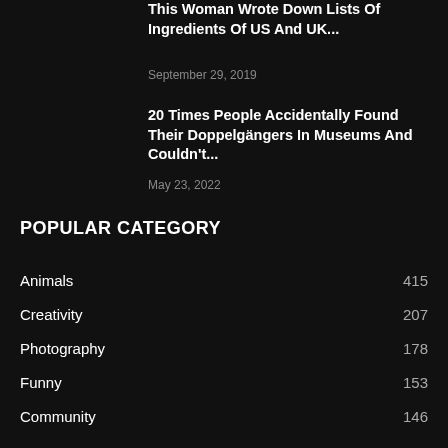This Woman Wrote Down Lists Of Ingredients Of US And UK...
September 29, 2019
20 Times People Accidentally Found Their Doppelgängers In Museums And Couldn't...
May 23, 2022
POPULAR CATEGORY
Animals 415
Creativity 207
Photography 178
Funny 153
Community 146
Art 144
Health 132